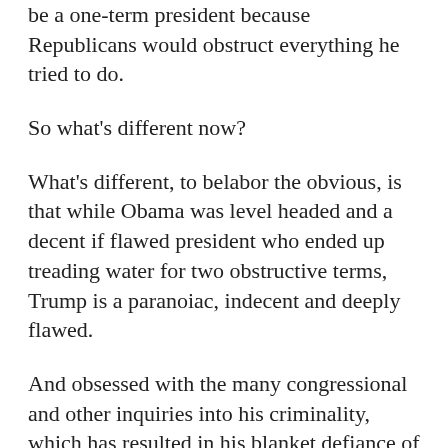be a one-term president because Republicans would obstruct everything he tried to do.
So what's different now?
What's different, to belabor the obvious, is that while Obama was level headed and a decent if flawed president who ended up treading water for two obstructive terms, Trump is a paranoiac, indecent and deeply flawed.
And obsessed with the many congressional and other inquiries into his criminality, which has resulted in his blanket defiance of subpoenas and consequent court battles to the point where not only is nothing getting done but America is